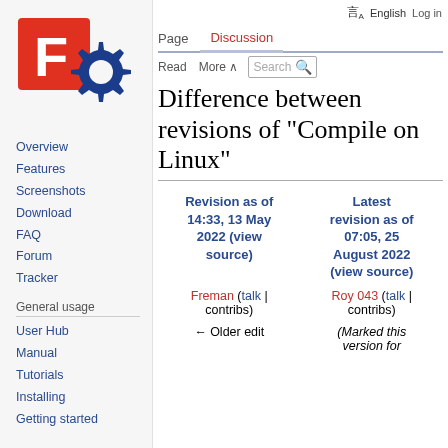A English  Log in
[Figure (logo): FreeBSD-style gear logo with red F letter and blue gear]
Overview
Features
Screenshots
Download
FAQ
Forum
Tracker
General usage
User Hub
Manual
Tutorials
Installing
Getting started
Difference between revisions of "Compile on Linux"
| Revision as of 14:33, 13 May 2022 (view source) | Latest revision as of 07:05, 25 August 2022 (view source) |
| --- | --- |
| Freman (talk | contribs) | Roy 043 (talk | contribs) |
| ← Older edit | (Marked this version for |